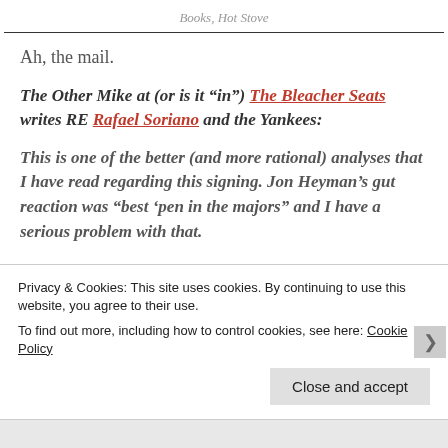Books, Hot Stove
Ah, the mail.
The Other Mike at (or is it “in”) The Bleacher Seats writes RE Rafael Soriano and the Yankees:
This is one of the better (and more rational) analyses that I have read regarding this signing. Jon Heyman’s gut reaction was “best ‘pen in the majors” and I have a serious problem with that.
Privacy & Cookies: This site uses cookies. By continuing to use this website, you agree to their use. To find out more, including how to control cookies, see here: Cookie Policy